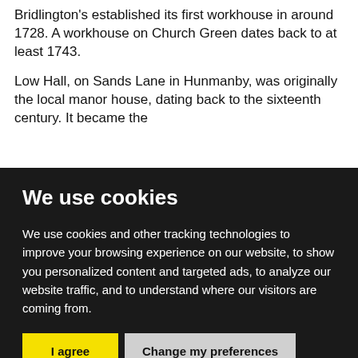Bridlington's established its first workhouse in around 1728. A workhouse on Church Green dates back to at least 1743.
Low Hall, on Sands Lane in Hunmanby, was originally the local manor house, dating back to the sixteenth century. It became the
We use cookies
We use cookies and other tracking technologies to improve your browsing experience on our website, to show you personalized content and targeted ads, to analyze our website traffic, and to understand where our visitors are coming from.
I agree
Change my preferences